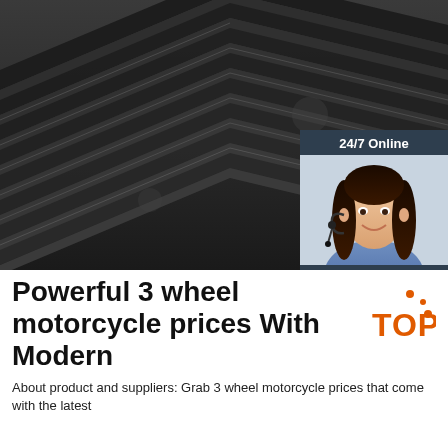[Figure (photo): Close-up photo of stacked dark grey steel angle iron / L-shaped metal bars arranged in rows]
[Figure (infographic): Chat widget overlay on image: dark blue-grey box with '24/7 Online' header, photo of smiling woman with headset, 'Click here for free chat!' italic text, and orange 'QUOTATION' button]
Powerful 3 wheel motorcycle prices With Modern
About product and suppliers: Grab 3 wheel motorcycle prices that come with the latest